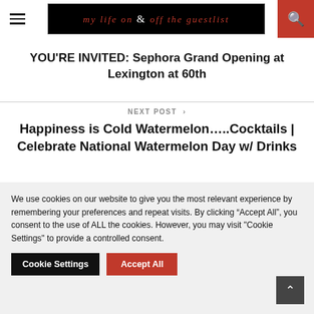My Life On & Off The Guestlist
YOU'RE INVITED: Sephora Grand Opening at Lexington at 60th
NEXT POST ›
Happiness is Cold Watermelon…..Cocktails | Celebrate National Watermelon Day w/ Drinks
We use cookies on our website to give you the most relevant experience by remembering your preferences and repeat visits. By clicking "Accept All", you consent to the use of ALL the cookies. However, you may visit "Cookie Settings" to provide a controlled consent.